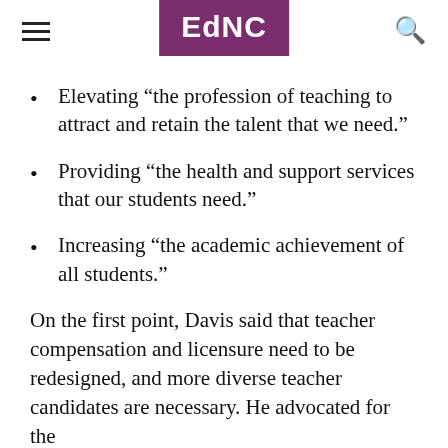EdNC
Elevating “the profession of teaching to attract and retain the talent that we need.”
Providing “the health and support services that our students need.”
Increasing “the academic achievement of all students.”
On the first point, Davis said that teacher compensation and licensure need to be redesigned, and more diverse teacher candidates are necessary. He advocated for the